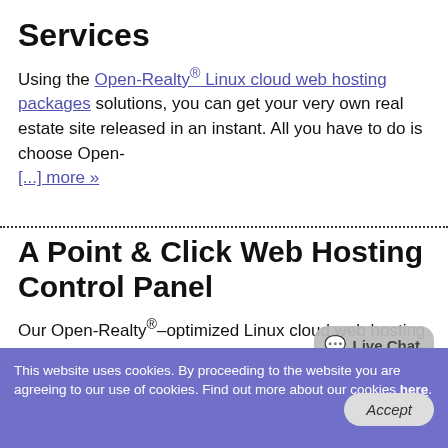Services
Using the Open-Realty® Linux cloud web hosting packages solutions, you can get your very own real estate site released in an instant. All you have to do is choose Open-[...] more »
A Point & Click Web Hosting Control Panel
Our Open-Realty®–optimized Linux cloud web hosting packages plans will offer you extensive control over your Open-Realty® site thanks to our in–house introduced Web [...] more »
This website uses cookies. By proceeding to the website you are agreeing to our use of cookies. Find out more about our cookies here.